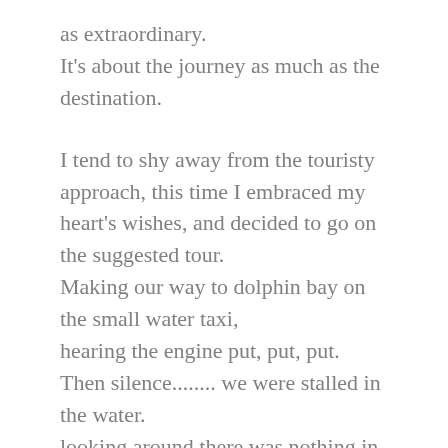as extraordinary.
It's about the journey as much as the destination.
I tend to shy away from the touristy approach, this time I embraced my heart's wishes, and decided to go on the suggested tour.
Making our way to dolphin bay on the small water taxi,
hearing the engine put, put, put.
Then silence........ we were stalled in the water.
looking around there was nothing in sight